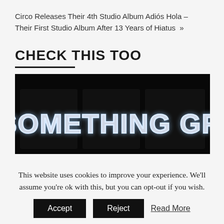Circo Releases Their 4th Studio Album Adiós Hola – Their First Studio Album After 13 Years of Hiatus »
CHECK THIS TOO
[Figure (photo): Neon sign on dark wall reading 'DO SOMETHING GREAT']
This website uses cookies to improve your experience. We'll assume you're ok with this, but you can opt-out if you wish.
Accept   Reject   Read More